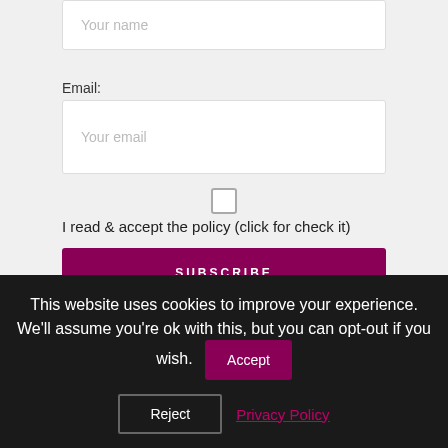Your name
Email:
Your email
I read & accept the policy (click for check it)
SUBSCRIBE
This website uses cookies to improve your experience. We'll assume you're ok with this, but you can opt-out if you wish.
Accept
Reject
Privacy Policy